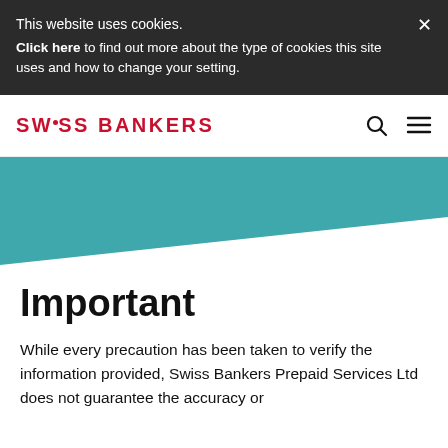This website uses cookies.
Click here to find out more about the type of cookies this site uses and how to change your setting.
[Figure (logo): Swiss Bankers logo in red with navigation icons (search and hamburger menu)]
[Figure (illustration): Teal/turquoise diagonal banner graphic]
Important
While every precaution has been taken to verify the information provided, Swiss Bankers Prepaid Services Ltd does not guarantee the accuracy or